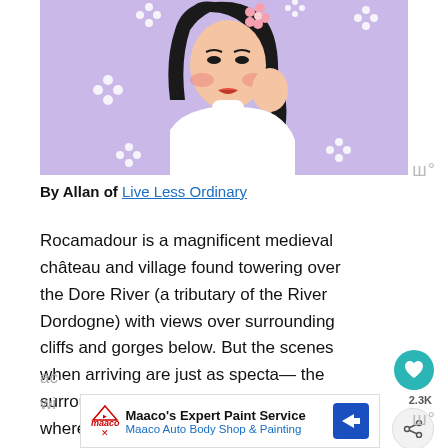[Figure (illustration): Illustration of a young woman in a white turtleneck sweater with pink flower in her hair, against a purple background with white floral decorations]
By Allan of Live Less Ordinary
Rocamadour is a magnificent medieval château and village found towering over the Dore River (a tributary of the River Dordogne) with views over surrounding cliffs and gorges below. But the scenes when arriving are just as spectacular — the surrounding midi-Pyrenees (as pictured), where winding streets and tight tunnels reach ac... pa... wi...
[Figure (photo): WHAT'S NEXT thumbnail — The Most Beautiful...]
[Figure (other): Advertisement: Maaco's Expert Paint Service — Maaco Auto Body Shop & Painting]